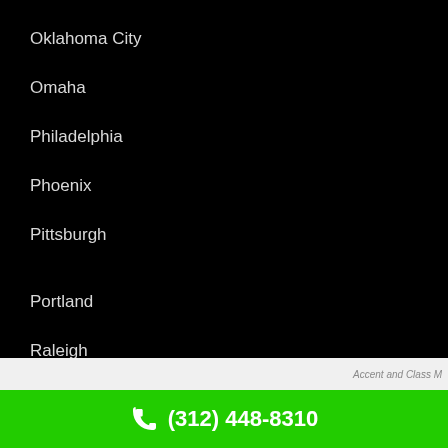Oklahoma City
Omaha
Philadelphia
Phoenix
Pittsburgh
Portland
Raleigh
Reno
Rochester
Sacramento
Accent and Class M
(312) 448-8310